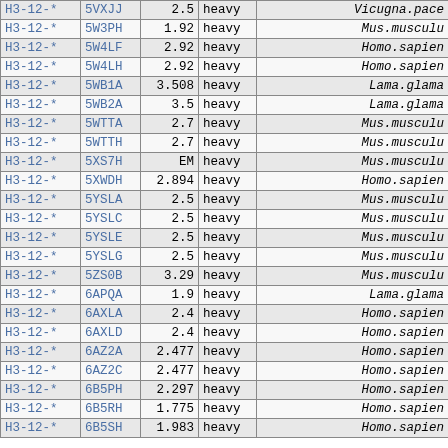| H3-12-* | 5VXJJ | 2.5 | heavy | Vicugna.pace |
| H3-12-* | 5W3PH | 1.92 | heavy | Mus.musculu |
| H3-12-* | 5W4LF | 2.92 | heavy | Homo.sapien |
| H3-12-* | 5W4LH | 2.92 | heavy | Homo.sapien |
| H3-12-* | 5WB1A | 3.508 | heavy | Lama.glama |
| H3-12-* | 5WB2A | 3.5 | heavy | Lama.glama |
| H3-12-* | 5WTTA | 2.7 | heavy | Mus.musculu |
| H3-12-* | 5WTTH | 2.7 | heavy | Mus.musculu |
| H3-12-* | 5XS7H | EM | heavy | Mus.musculu |
| H3-12-* | 5XWDH | 2.894 | heavy | Homo.sapien |
| H3-12-* | 5YSLA | 2.5 | heavy | Mus.musculu |
| H3-12-* | 5YSLC | 2.5 | heavy | Mus.musculu |
| H3-12-* | 5YSLE | 2.5 | heavy | Mus.musculu |
| H3-12-* | 5YSLG | 2.5 | heavy | Mus.musculu |
| H3-12-* | 5ZS0B | 3.29 | heavy | Mus.musculu |
| H3-12-* | 6APQA | 1.9 | heavy | Lama.glama |
| H3-12-* | 6AXLA | 2.4 | heavy | Homo.sapien |
| H3-12-* | 6AXLD | 2.4 | heavy | Homo.sapien |
| H3-12-* | 6AZ2A | 2.477 | heavy | Homo.sapien |
| H3-12-* | 6AZ2C | 2.477 | heavy | Homo.sapien |
| H3-12-* | 6B5PH | 2.297 | heavy | Homo.sapien |
| H3-12-* | 6B5RH | 1.775 | heavy | Homo.sapien |
| H3-12-* | 6B5SH | 1.983 | heavy | Homo.sapien |